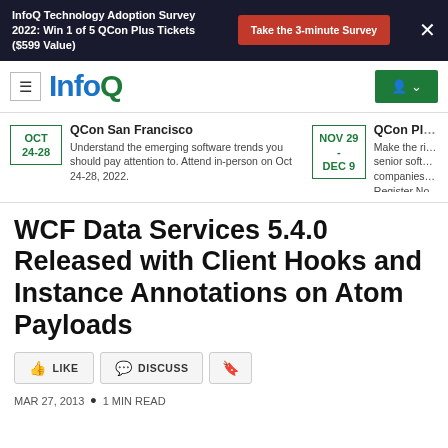InfoQ Technology Adoption Survey 2022: Win 1 of 5 QCon Plus Tickets ($599 Value)  |  Take the 3-minute Survey  |  X
[Figure (logo): InfoQ logo with hamburger menu and user account button]
QCon San Francisco – OCT 24-28 – Understand the emerging software trends you should pay attention to. Attend in-person on Oct 24-28, 2022.
QCon Pl… – NOV 29 - DEC 9 – Make the ri… senior soft… companies… Register No…
WCF Data Services 5.4.0 Released with Client Hooks and Instance Annotations on Atom Payloads
LIKE   DISCUSS   (bookmark)
MAR 27, 2013 • 1 MIN READ